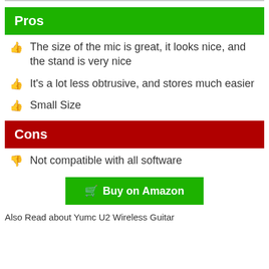Pros
The size of the mic is great, it looks nice, and the stand is very nice
It's a lot less obtrusive, and stores much easier
Small Size
Cons
Not compatible with all software
Buy on Amazon
Also Read about Yumc U2 Wireless Guitar